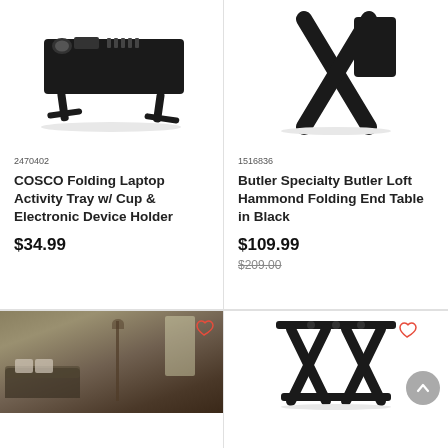[Figure (photo): COSCO Folding Laptop Activity Tray with cup holder and electronic device holder, black]
2470402
COSCO Folding Laptop Activity Tray w/ Cup & Electronic Device Holder
$34.99
[Figure (photo): Butler Specialty Butler Loft Hammond Folding End Table in Black, X-frame style]
1516836
Butler Specialty Butler Loft Hammond Folding End Table in Black
$109.99
$209.00
[Figure (photo): Living room scene with sofa, floor lamp and coffee table]
[Figure (photo): Black X-frame folding stand/table]